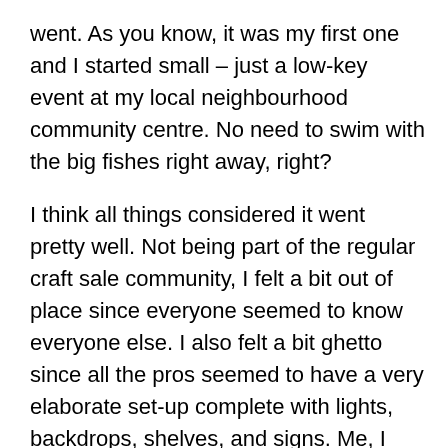went. As you know, it was my first one and I started small – just a low-key event at my local neighbourhood community centre. No need to swim with the big fishes right away, right?
I think all things considered it went pretty well. Not being part of the regular craft sale community, I felt a bit out of place since everyone seemed to know everyone else. I also felt a bit ghetto since all the pros seemed to have a very elaborate set-up complete with lights, backdrops, shelves, and signs. Me, I only had a sheet to cover my table and some pretty weak homemade business cards. But hey, it was my first show and this is just a hobby for me.
Anyway, the sale. I started the day with 27 mosaics (I think that was the final count), and I went home with just 17. So, if my elementary school math is correct, I